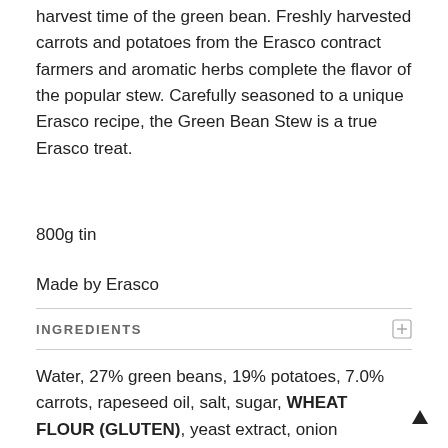harvest time of the green bean. Freshly harvested carrots and potatoes from the Erasco contract farmers and aromatic herbs complete the flavor of the popular stew. Carefully seasoned to a unique Erasco recipe, the Green Bean Stew is a true Erasco treat.
800g tin
Made by Erasco
INGREDIENTS
Water, 27% green beans, 19% potatoes, 7.0% carrots, rapeseed oil, salt, sugar, WHEAT FLOUR (GLUTEN), yeast extract, onion powder, savory, dextrose, flavor, thickener: